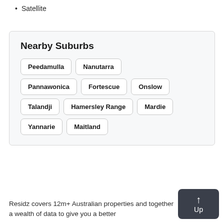Satellite
Nearby Suburbs
Peedamulla
Nanutarra
Pannawonica
Fortescue
Onslow
Talandji
Hamersley Range
Mardie
Yannarie
Maitland
Residz covers 12m+ Australian properties and together a wealth of data to give you a better